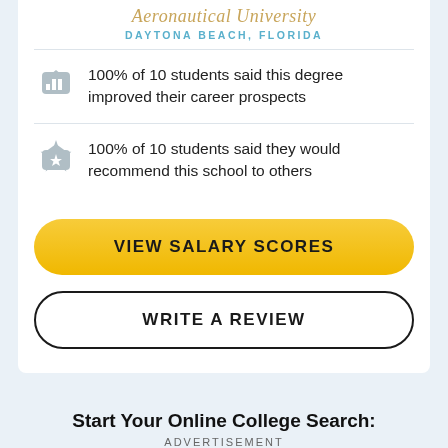Aeronautical University DAYTONA BEACH, FLORIDA
100% of 10 students said this degree improved their career prospects
100% of 10 students said they would recommend this school to others
VIEW SALARY SCORES
WRITE A REVIEW
Start Your Online College Search:
ADVERTISEMENT